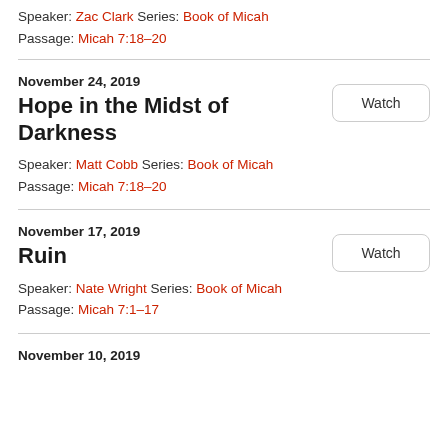Speaker: Zac Clark Series: Book of Micah
Passage: Micah 7:18–20
November 24, 2019
Hope in the Midst of Darkness
Speaker: Matt Cobb Series: Book of Micah
Passage: Micah 7:18–20
November 17, 2019
Ruin
Speaker: Nate Wright Series: Book of Micah
Passage: Micah 7:1–17
November 10, 2019